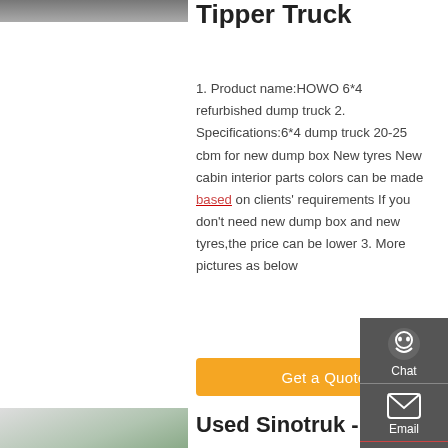[Figure (photo): Partial view of a truck at the top left]
Tipper Truck
1. Product name:HOWO 6*4 refurbished dump truck 2. Specifications:6*4 dump truck 20-25 cbm for new dump box New tyres New cabin interior parts colors can be made based on clients' requirements If you don't need new dump box and new tyres,the price can be lower 3. More pictures as below
Get a Quote
[Figure (photo): White truck partial view at bottom left]
Used Sinotruk -